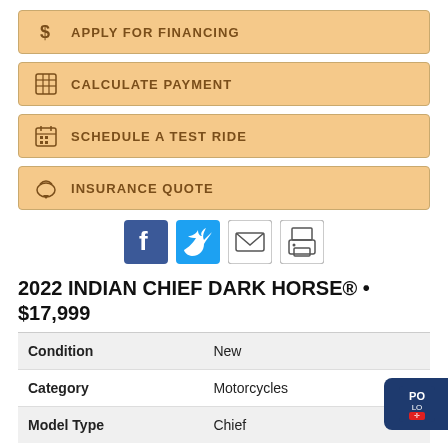$ APPLY FOR FINANCING
CALCULATE PAYMENT
SCHEDULE A TEST RIDE
INSURANCE QUOTE
[Figure (infographic): Social sharing icons: Facebook, Twitter, Email, Print]
2022 INDIAN CHIEF DARK HORSE® • $17,999
| Field | Value |
| --- | --- |
| Condition | New |
| Category | Motorcycles |
| Model Type | Chief |